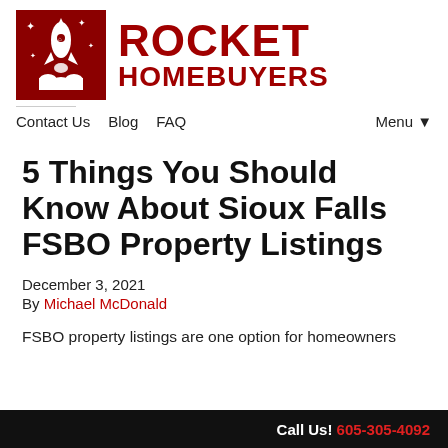[Figure (logo): Rocket Homebuyers logo with red rocket ship icon and bold red text reading ROCKET HOMEBUYERS]
Contact Us   Blog   FAQ   Menu▾
5 Things You Should Know About Sioux Falls FSBO Property Listings
December 3, 2021
By Michael McDonald
FSBO property listings are one option for homeowners
Call Us! 605-305-4092